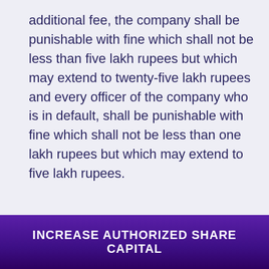additional fee, the company shall be punishable with fine which shall not be less than five lakh rupees but which may extend to twenty-five lakh rupees and every officer of the company who is in default, shall be punishable with fine which shall not be less than one lakh rupees but which may extend to five lakh rupees.
[Figure (other): WhatsApp chat button with green circular icon and 'Questions? Let's Chat' bubble]
INCREASE AUTHORIZED SHARE CAPITAL